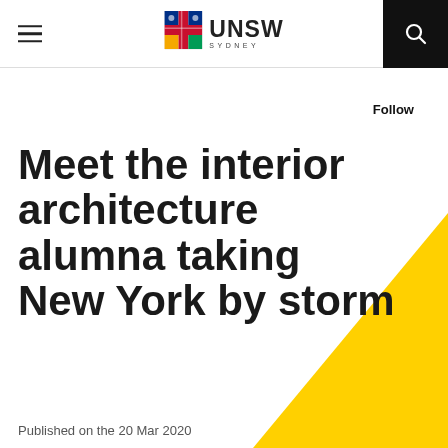UNSW SYDNEY
Follow
Meet the interior architecture alumna taking New York by storm
Published on the 20 Mar 2020